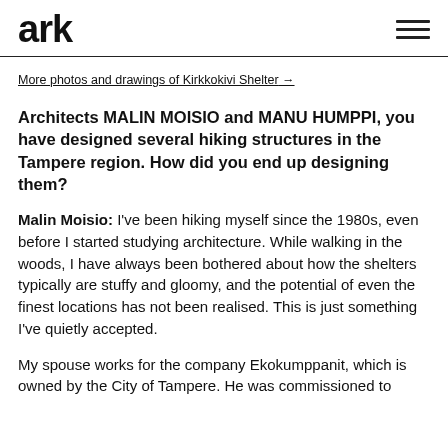ark
More photos and drawings of Kirkkokivi Shelter →
Architects MALIN MOISIO and MANU HUMPPI, you have designed several hiking structures in the Tampere region. How did you end up designing them?
Malin Moisio: I've been hiking myself since the 1980s, even before I started studying architecture. While walking in the woods, I have always been bothered about how the shelters typically are stuffy and gloomy, and the potential of even the finest locations has not been realised. This is just something I've quietly accepted.
My spouse works for the company Ekokumppanit, which is owned by the City of Tampere. He was commissioned to